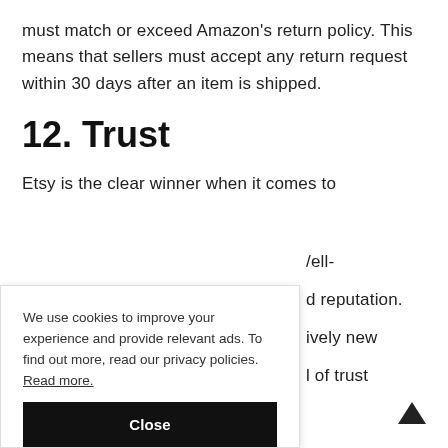must match or exceed Amazon's return policy. This means that sellers must accept any return request within 30 days after an item is shipped.
12. Trust
Etsy is the clear winner when it comes to
We use cookies to improve your experience and provide relevant ads. To find out more, read our privacy policies. Read more.
Close